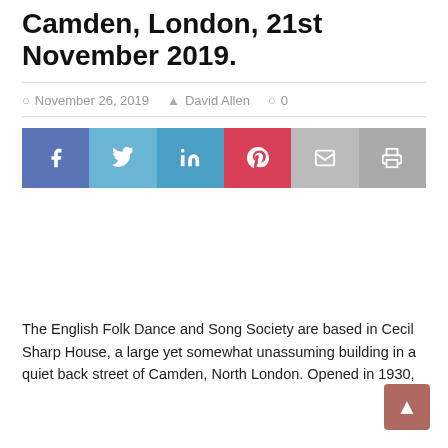Camden, London, 21st November 2019.
November 26, 2019   David Allen   0
[Figure (other): Social media share buttons: Facebook, Twitter, LinkedIn, Pinterest, Email, Print]
The English Folk Dance and Song Society are based in Cecil Sharp House, a large yet somewhat unassuming building in a quiet back street of Camden, North London. Opened in 1930,